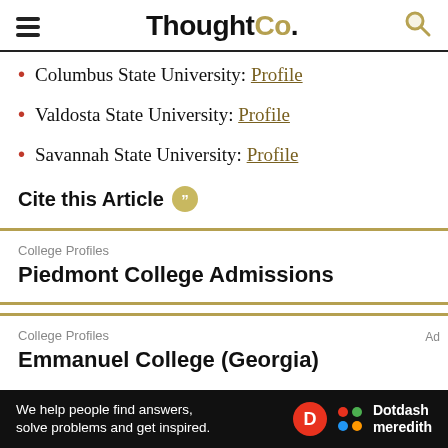ThoughtCo.
Columbus State University: Profile
Valdosta State University: Profile
Savannah State University: Profile
Cite this Article
College Profiles
Piedmont College Admissions
College Profiles
Emmanuel College (Georgia)
We help people find answers, solve problems and get inspired. Dotdash meredith